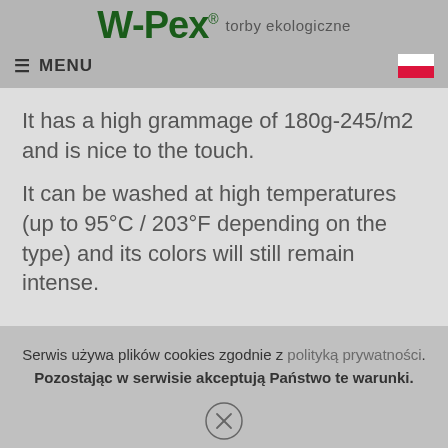W-Pex® torby ekologiczne
≡ MENU
It has a high grammage of 180g-245/m2 and is nice to the touch.
It can be washed at high temperatures (up to 95°C / 203°F depending on the type) and its colors will still remain intense.
Serwis używa plików cookies zgodnie z polityką prywatności. Pozostając w serwisie akceptują Państwo te warunki.